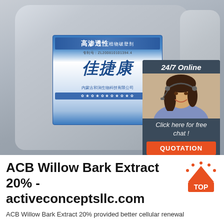[Figure (photo): Two large gray plastic jugs/containers with a Chinese brand label (佳捷康) on the left jug, blue and white label with Chinese characters. An overlay chat widget on the right shows '24/7 Online', a woman with a headset, 'Click here for free chat!', and an orange QUOTATION button.]
ACB Willow Bark Extract 20% - activeconceptsllc.com
ACB Willow Bark Extract 20% provided better cellular renewal